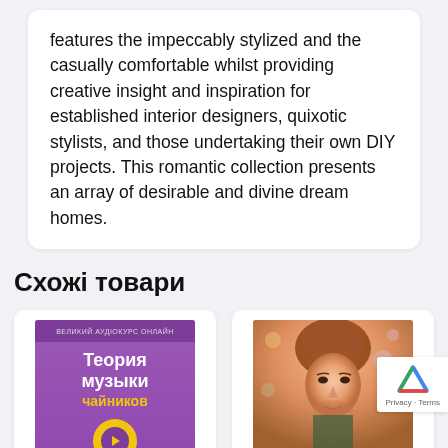features the impeccably stylized and the casually comfortable whilst providing creative insight and inspiration for established interior designers, quixotic stylists, and those undertaking their own DIY projects. This romantic collection presents an array of desirable and divine dream homes.
Схожі товари
[Figure (photo): Book cover: Теория музыки для чайников (Music Theory for Dummies), purple cover with yellow badge]
[Figure (photo): Book cover: Portrait of a woman (Renoir-style painting) with white title band at bottom showing stylized text]